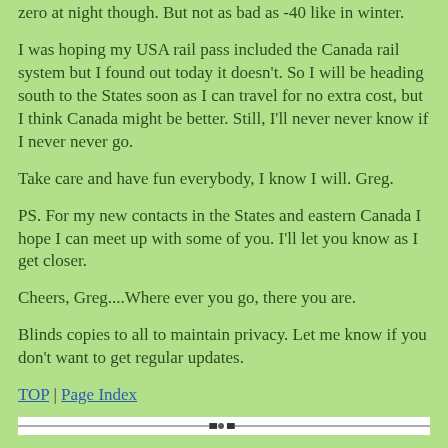zero at night though. But not as bad as -40 like in winter.
I was hoping my USA rail pass included the Canada rail system but I found out today it doesn't. So I will be heading south to the States soon as I can travel for no extra cost, but I think Canada might be better. Still, I'll never never know if I never never go.
Take care and have fun everybody, I know I will. Greg.
PS. For my new contacts in the States and eastern Canada I hope I can meet up with some of you. I'll let you know as I get closer.
Cheers, Greg....Where ever you go, there you are.
Blinds copies to all to maintain privacy. Let me know if you don't want to get regular updates.
TOP | Page Index
[Figure (other): Horizontal decorative divider line with a small centered ornament on white background]
Subject: Back in Portland, Oregon
Date: Mon, 04 May 1998 16:09:10 PDT
From: "Greg Lemin"